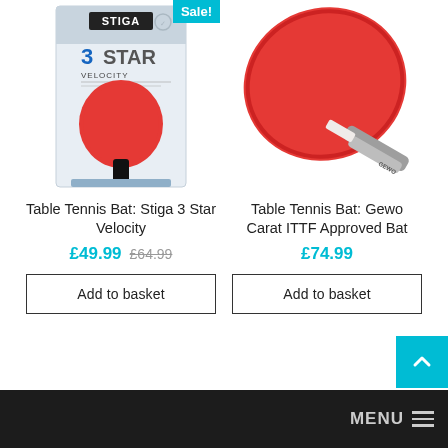[Figure (photo): Stiga 3 Star Velocity table tennis bat in packaging box with Sale badge]
Table Tennis Bat: Stiga 3 Star Velocity
£49.99 £64.99
Add to basket
[Figure (photo): Gewo Carat ITTF Approved table tennis bat with red rubber face on white background]
Table Tennis Bat: Gewo Carat ITTF Approved Bat
£74.99
Add to basket
MENU